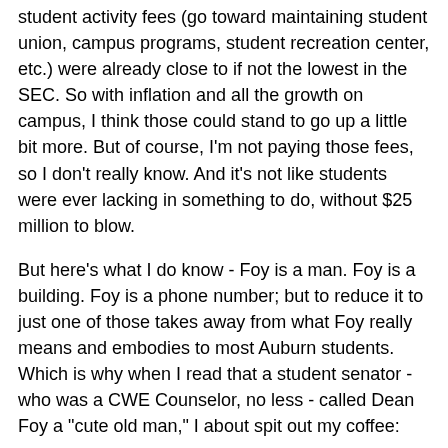student activity fees (go toward maintaining student union, campus programs, student recreation center, etc.) were already close to if not the lowest in the SEC. So with inflation and all the growth on campus, I think those could stand to go up a little bit more. But of course, I'm not paying those fees, so I don't really know. And it's not like students were ever lacking in something to do, without $25 million to blow.
But here's what I do know - Foy is a man. Foy is a building. Foy is a phone number; but to reduce it to just one of those takes away from what Foy really means and embodies to most Auburn students. Which is why when I read that a student senator - who was a CWE Counselor, no less - called Dean Foy a "cute old man," I about spit out my coffee:
"We don't remember Foy or are respectful of Foy because of the man he is. Because to all of us, he's just, he's great I'm sure, but he's still the cute, old guy that says War Eagle at pep rallies. I'm not trying to take away anything from who he is, but we're all passionate about Foy because of the building, because it is where we spent our time, where we ate lunch, not because of who he is."